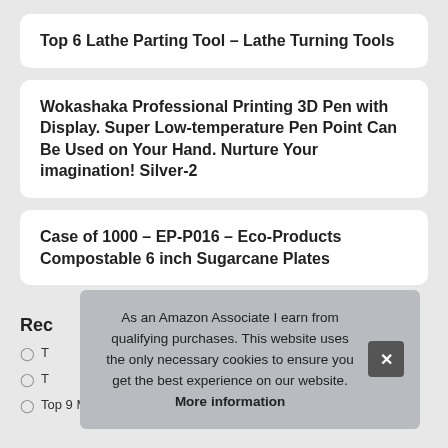Top 6 Lathe Parting Tool – Lathe Turning Tools
Wokashaka Professional Printing 3D Pen with Display. Super Low-temperature Pen Point Can Be Used on Your Hand. Nurture Your imagination! Silver-2
Case of 1000 – EP-P016 – Eco-Products Compostable 6 inch Sugarcane Plates
Rec
T
T
Top 9 Mold Remover for Walls – Kitchen & Dining Features
As an Amazon Associate I earn from qualifying purchases. This website uses the only necessary cookies to ensure you get the best experience on our website. More information